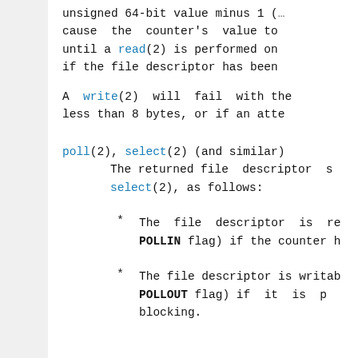unsigned 64-bit value minus 1 (... cause the counter's value to ... until a read(2) is performed on ... if the file descriptor has been ...
A write(2) will fail with the... less than 8 bytes, or if an atte...
poll(2), select(2) (and similar)
The returned file descriptor s... select(2), as follows:
* The file descriptor is re... POLLIN flag) if the counter h...
* The file descriptor is writab... POLLOUT flag) if it is p... blocking.